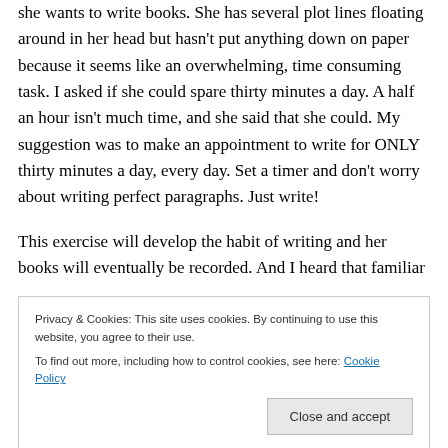she wants to write books. She has several plot lines floating around in her head but hasn't put anything down on paper because it seems like an overwhelming, time consuming task. I asked if she could spare thirty minutes a day. A half an hour isn't much time, and she said that she could. My suggestion was to make an appointment to write for ONLY thirty minutes a day, every day. Set a timer and don't worry about writing perfect paragraphs. Just write!
This exercise will develop the habit of writing and her books will eventually be recorded. And I heard that familiar
Privacy & Cookies: This site uses cookies. By continuing to use this website, you agree to their use. To find out more, including how to control cookies, see here: Cookie Policy
Close and accept
same thing.